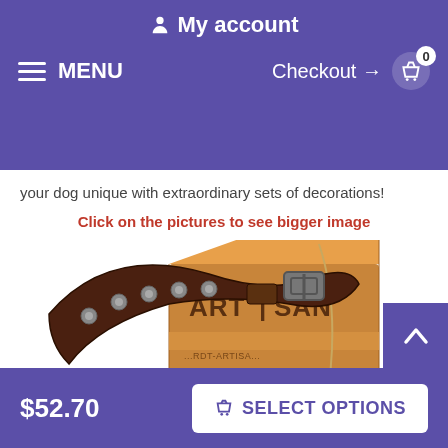My account  MENU  Checkout → 0
your dog unique with extraordinary sets of decorations!
Click on the pictures to see bigger image
[Figure (photo): Brown leather studded dog collar with metal buckle, resting on an Artisan branded cardboard box]
$52.70
SELECT OPTIONS